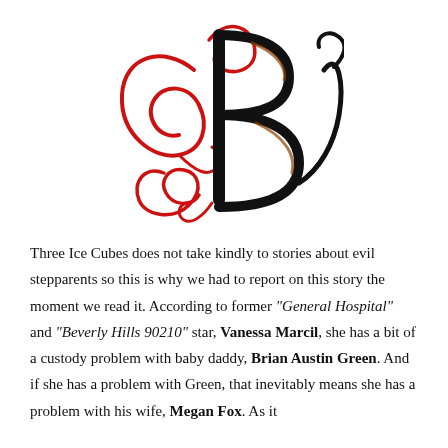[Figure (logo): Decorative monogram logo with intertwined letters B and C/R in red and black calligraphic script style]
Three Ice Cubes does not take kindly to stories about evil stepparents so this is why we had to report on this story the moment we read it. According to former "General Hospital" and "Beverly Hills 90210" star, Vanessa Marcil, she has a bit of a custody problem with baby daddy, Brian Austin Green. And if she has a problem with Green, that inevitably means she has a problem with his wife, Megan Fox. As it